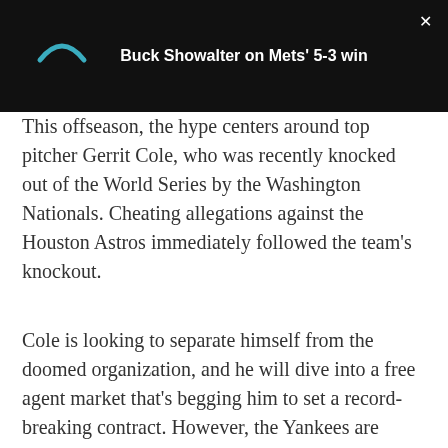[Figure (screenshot): Black top bar with a teal arc/loading icon on the left and white bold text 'Buck Showalter on Mets' 5-3 win' centered, with a white X close button in the top right corner.]
This offseason, the hype centers around top pitcher Gerrit Cole, who was recently knocked out of the World Series by the Washington Nationals. Cheating allegations against the Houston Astros immediately followed the team's knockout.
Cole is looking to separate himself from the doomed organization, and he will dive into a free agent market that's begging him to set a record-breaking contract. However, the Yankees are loaded in the